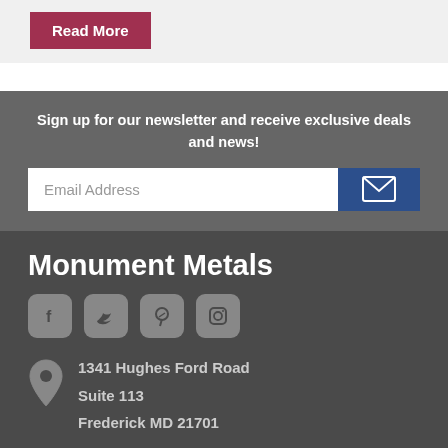Read More
Sign up for our newsletter and receive exclusive deals and news!
Email Address
Monument Metals
[Figure (infographic): Social media icons: Facebook, Twitter, Pinterest, Instagram]
1341 Hughes Ford Road
Suite 113
Frederick MD 21701